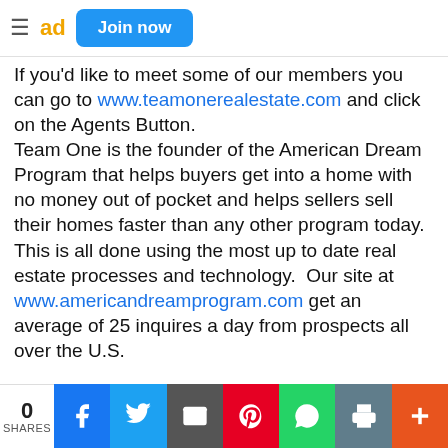≡  ad  Join now
If you'd like to meet some of our members you can go to www.teamonerealestate.com and click on the Agents Button. Team One is the founder of the American Dream Program that helps buyers get into a home with no money out of pocket and helps sellers sell their homes faster than any other program today.  This is all done using the most up to date real estate processes and technology.  Our site at www.americandreamprogram.com get an average of 25 inquires a day from prospects all over the U.S.
0 SHARES | Facebook | Twitter | Email | Pinterest | WhatsApp | Print | More